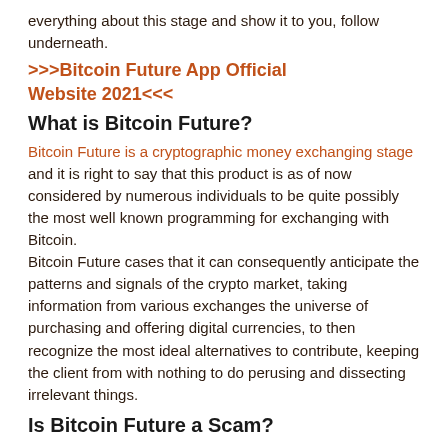everything about this stage and show it to you, follow underneath.
>>>Bitcoin Future App Official Website 2021<<<
What is Bitcoin Future?
Bitcoin Future is a cryptographic money exchanging stage and it is right to say that this product is as of now considered by numerous individuals to be quite possibly the most well known programming for exchanging with Bitcoin. Bitcoin Future cases that it can consequently anticipate the patterns and signals of the crypto market, taking information from various exchanges the universe of purchasing and offering digital currencies, to then recognize the most ideal alternatives to contribute, keeping the client from with nothing to do perusing and dissecting irrelevant things.
Is Bitcoin Future a Scam?